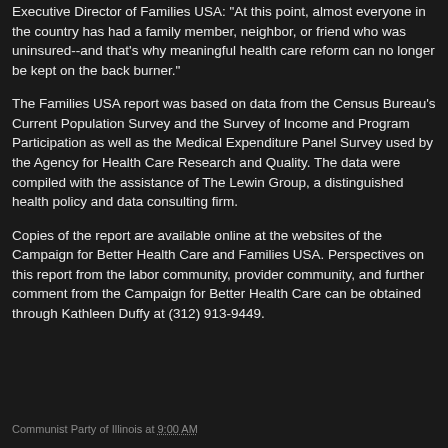Executive Director of Families USA: "At this point, almost everyone in the country has had a family member, neighbor, or friend who was uninsured--and that's why meaningful health care reform can no longer be kept on the back burner."
The Families USA report was based on data from the Census Bureau's Current Population Survey and the Survey of Income and Program Participation as well as the Medical Expenditure Panel Survey used by the Agency for Health Care Research and Quality. The data were compiled with the assistance of The Lewin Group, a distinguished health policy and data consulting firm.
Copies of the report are available online at the websites of the Campaign for Better Health Care and Families USA. Perspectives on this report from the labor community, provider community, and further comment from the Campaign for Better Health Care can be obtained through Kathleen Duffy at (312) 913-9449.
Communist Party of Illinois at 9:00 AM